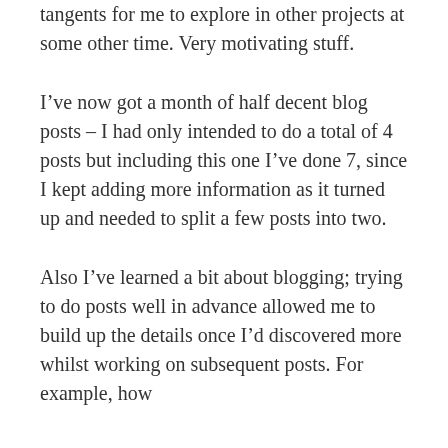tangents for me to explore in other projects at some other time. Very motivating stuff.
I've now got a month of half decent blog posts – I had only intended to do a total of 4 posts but including this one I've done 7, since I kept adding more information as it turned up and needed to split a few posts into two.
Also I've learned a bit about blogging; trying to do posts well in advance allowed me to build up the details once I'd discovered more whilst working on subsequent posts. For example, how